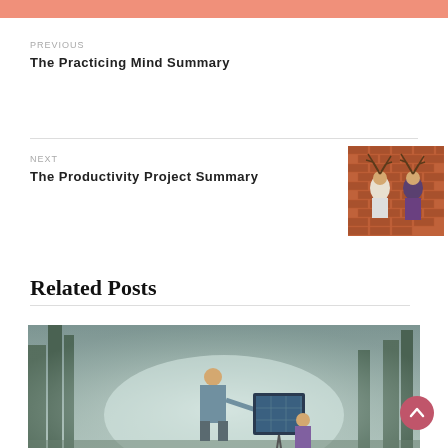PREVIOUS
The Practicing Mind Summary
NEXT
The Productivity Project Summary
[Figure (photo): Two people standing back to back against a brick wall, one appearing to have antlers or branches coming from their head]
Related Posts
[Figure (photo): A man standing in a misty forest pointing at a board with images, with a child nearby]